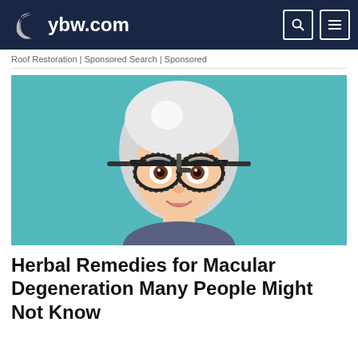ybw.com
Roof Restoration | Sponsored Search | Sponsored
[Figure (illustration): Cartoon illustration of an elderly woman with white bob haircut wearing optometry trial lens frames with multiple lens slots, smiling, against a teal/turquoise background]
Herbal Remedies for Macular Degeneration Many People Might Not Know